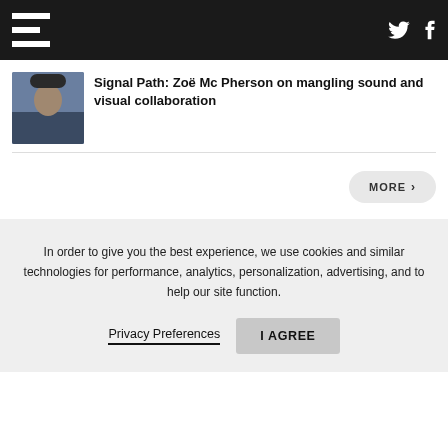F [logo] — Twitter icon, Facebook icon
Signal Path: Zoë Mc Pherson on mangling sound and visual collaboration
MORE >
In order to give you the best experience, we use cookies and similar technologies for performance, analytics, personalization, advertising, and to help our site function.
Privacy Preferences   I AGREE